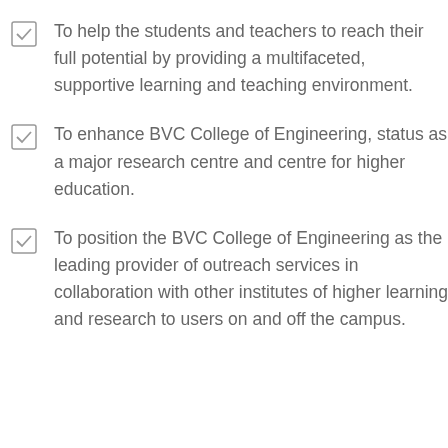To help the students and teachers to reach their full potential by providing a multifaceted, supportive learning and teaching environment.
To enhance BVC College of Engineering, status as a major research centre and centre for higher education.
To position the BVC College of Engineering as the leading provider of outreach services in collaboration with other institutes of higher learning and research to users on and off the campus.